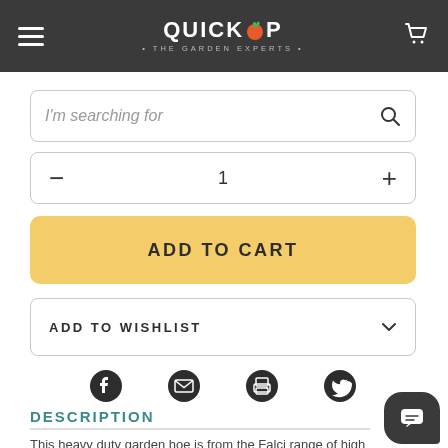[Figure (logo): QuickCrop logo with tomato icon and tagline 'THE GARDEN EXPERTS' on dark header bar]
[Figure (screenshot): Search bar with placeholder text 'I'm searching for' and magnifying glass icon]
[Figure (screenshot): Quantity selector with minus button, number 1, and plus button]
ADD TO CART
ADD TO WISHLIST
[Figure (infographic): Social sharing icons: Facebook, Email/Envelope, Print, Twitter]
DESCRIPTION
This heavy duty garden hoe is from the Falci range of high